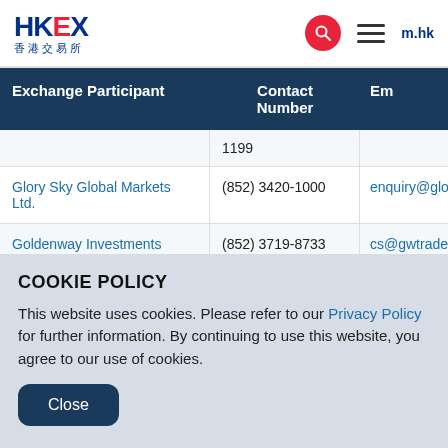HKEX 香港交易所
| Exchange Participant | Contact Number | Em... |
| --- | --- | --- |
|  | 1199 |  |
| Glory Sky Global Markets Ltd. | (852) 3420-1000 | enquiry@glorysky.w... |
| Goldenway Investments (HK) Ltd. | (852) 3719-8733 | cs@gwtrade.hk |
COOKIE POLICY
This website uses cookies. Please refer to our Privacy Policy for further information. By continuing to use this website, you agree to our use of cookies.
Close